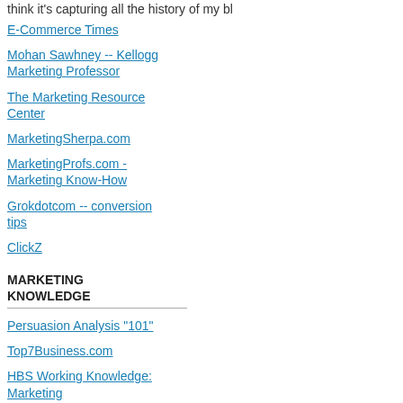think it's capturing all the history of my bl
E-Commerce Times
Mohan Sawhney -- Kellogg Marketing Professor
The Marketing Resource Center
MarketingSherpa.com
MarketingProfs.com - Marketing Know-How
Grokdotcom -- conversion tips
ClickZ
MARKETING KNOWLEDGE
Persuasion Analysis "101"
Top7Business.com
HBS Working Knowledge: Marketing
[Figure (illustration): Word cloud/tag cloud with large dark red letters spelling 'Make' and various marketing-related words like 'chance', 'track', 'invest', 'face', 'comp', 'start', 'question', 'blogs', 'stay', 'conversation', 'co']